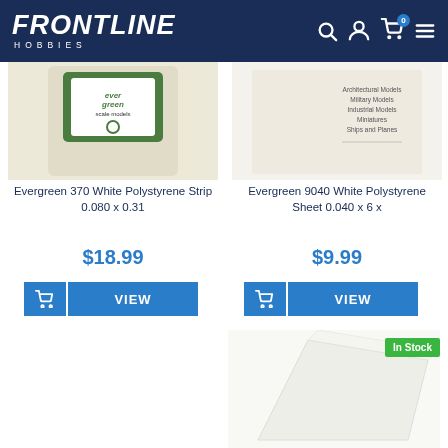Frontline Hobbies
Evergreen 370 White Polystyrene Strip 0.080 x 0.31
$18.99
Evergreen 9040 White Polystyrene Sheet 0.040 x 6 x
$9.99
[Figure (photo): Evergreen scale models product packaging - strip polystyrene]
[Figure (photo): Evergreen 9040 white polystyrene sheet product packaging]
[Figure (photo): Evergreen scale models Sheet Styrene product with In Stock badge]
[Figure (photo): White polystyrene sheet product with In Stock badge]